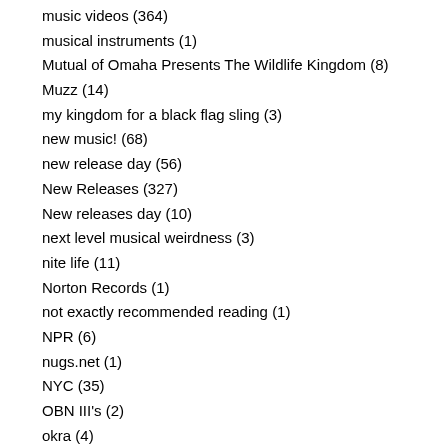music videos (364)
musical instruments (1)
Mutual of Omaha Presents The Wildlife Kingdom (8)
Muzz (14)
my kingdom for a black flag sling (3)
new music! (68)
new release day (56)
New Releases (327)
New releases day (10)
next level musical weirdness (3)
nite life (11)
Norton Records (1)
not exactly recommended reading (1)
NPR (6)
nugs.net (1)
NYC (35)
OBN III's (2)
okra (4)
on broadway (3)
on the TV (3)
other labels and their fables (63)
our favorite sounds (102)